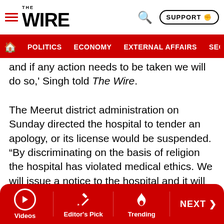THE WIRE — POLITICS | ECONOMY | EXTERNAL AFFAIRS | SECU...
and if any action needs to be taken we will do so,' Singh told The Wire.
The Meerut district administration on Sunday directed the hospital to tender an apology, or its license would be suspended. "By discriminating on the basis of religion the hospital has violated medical ethics. We will issue a notice to the hospital and it will have to issue offer a public apology. If it doesn't do so its license will be suspended for discriminating on the basis of religion," said Meerut chief medical officer Raj Kumar.
Note: This article was updated to include the Meerut police and administration's response.
Videos | Editor's Pick | Trending | NEXT >